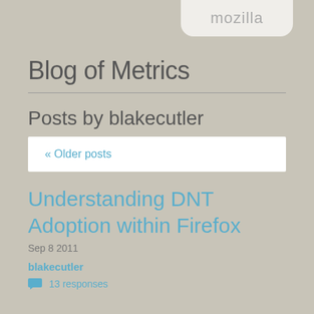mozilla
Blog of Metrics
Posts by blakecutler
« Older posts
Understanding DNT Adoption within Firefox
Sep 8 2011
blakecutler
13 responses